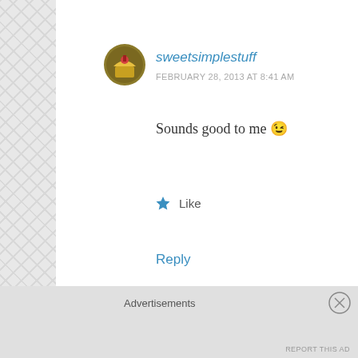sweetsimplestuff
FEBRUARY 28, 2013 AT 8:41 AM
Sounds good to me 😉
★ Like
Reply
Karene
FEBRUARY 28, 2013 AT 8:06 AM
Sounds like a wonderful weekend! Mmmmm....
Advertisements